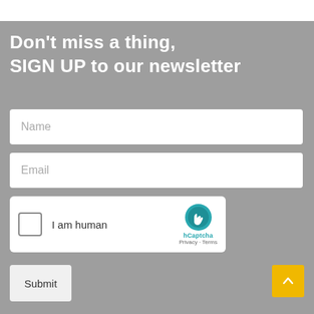Don't miss a thing, SIGN UP to our newsletter
Name
Email
[Figure (other): hCaptcha widget with checkbox labeled 'I am human', logo and Privacy - Terms links]
Submit